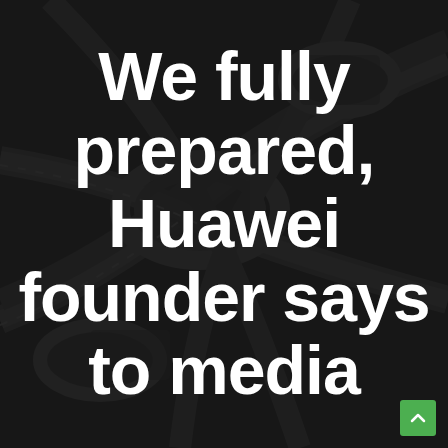[Figure (photo): Dark overhead aerial/isometric view of a road interchange with multiple lanes and overpasses, heavily darkened with overlay]
We fully prepared, Huawei founder says to media